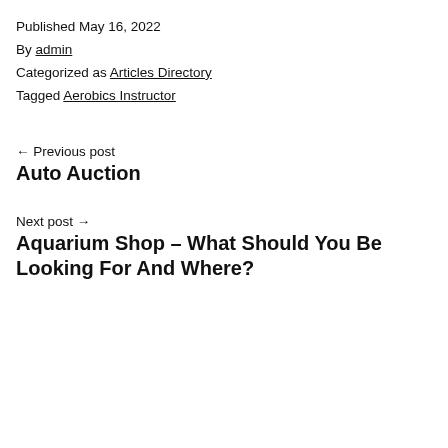Published May 16, 2022
By admin
Categorized as Articles Directory
Tagged Aerobics Instructor
← Previous post
Auto Auction
Next post →
Aquarium Shop – What Should You Be Looking For And Where?